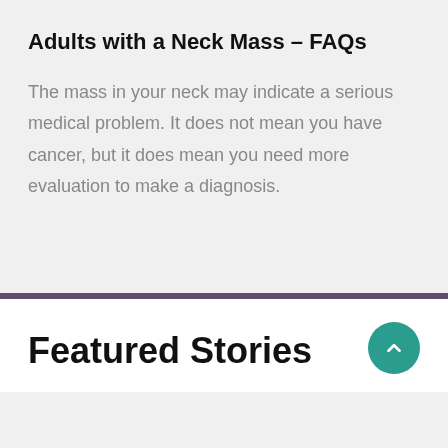Adults with a Neck Mass – FAQs
The mass in your neck may indicate a serious medical problem. It does not mean you have cancer, but it does mean you need more evaluation to make a diagnosis.
Featured Stories